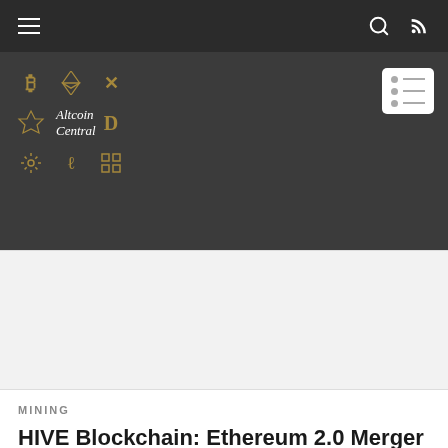Altcoin Central — navigation bar with hamburger menu, search icon, RSS icon
[Figure (logo): Altcoin Central logo featuring a grid of cryptocurrency icons (Bitcoin B, Ethereum diamond, X, gear, Litecoin, etc.) in gold/amber on dark background, with 'Altcoin Central' text in italic white serif font. Menu/list button in white box in top-right corner.]
[Figure (other): Advertisement or placeholder content area — large light gray rectangle]
MINING
HIVE Blockchain: Ethereum 2.0 Merger Raises Questions (NASDAQ:HIVE)